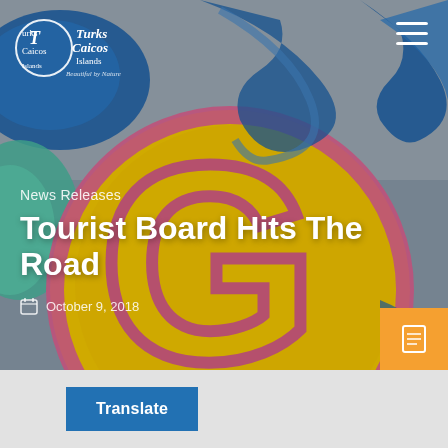[Figure (photo): Colorful graffiti mural featuring large letter G in yellow and pink, with blue swirling designs on a concrete wall background. Used as hero banner image for the Turks and Caicos Islands Tourism website.]
Turks & Caicos Islands – Beautiful by Nature
News Releases
Tourist Board Hits The Road
October 9, 2018
Translate